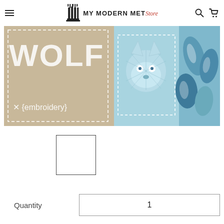MY MODERN MET Store
[Figure (photo): Product photo showing a wolf embroidery craft kit packaging next to a blue wolf-design pillow/fleece item with feather pattern]
[Figure (photo): Small thumbnail image of the product (white/blank square thumbnail)]
Quantity  1